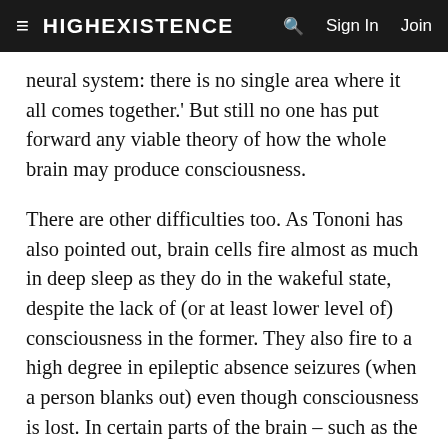≡  HIGHEXISTENCE    🔍   Sign In   Join
neural system: there is no single area where it all comes together.' But still no one has put forward any viable theory of how the whole brain may produce consciousness.
There are other difficulties too. As Tononi has also pointed out, brain cells fire almost as much in deep sleep as they do in the wakeful state, despite the lack of (or at least lower level of) consciousness in the former. They also fire to a high degree in epileptic absence seizures (when a person blanks out) even though consciousness is lost. In certain parts of the brain – such as the thalamocortical system – you can identify some neurons that correlate with conscious experience, while other neurons do not seem to have any affect on it. Why should consciousness correlate